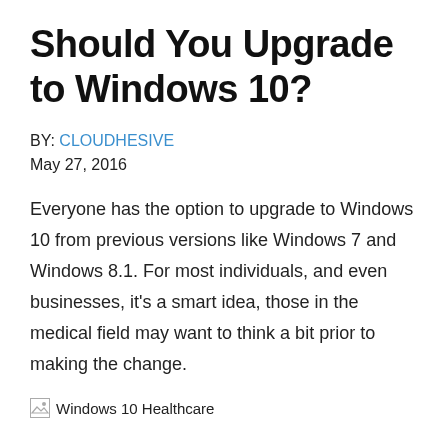Should You Upgrade to Windows 10?
BY: CLOUDHESIVE
May 27, 2016
Everyone has the option to upgrade to Windows 10 from previous versions like Windows 7 and Windows 8.1. For most individuals, and even businesses, it’s a smart idea, those in the medical field may want to think a bit prior to making the change.
[Figure (photo): Windows 10 Healthcare image placeholder]